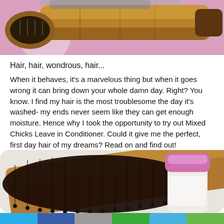[Figure (photo): Photo of a wooden hairbrush on a pink background, partially cropped at top]
Hair, hair, wondrous, hair...
When it behaves, it's a marvelous thing but when it goes wrong it can bring down your whole damn day. Right? You know. I find my hair is the most troublesome the day it's washed- my ends never seem like they can get enough moisture. Hence why I took the opportunity to try out Mixed Chicks Leave in Conditioner. Could it give me the perfect, first day hair of my dreams? Read on and find out!
[Figure (photo): Photo of a wooden paddle hairbrush with black bristles next to a white and pink bottle of Mixed Chicks Leave in Conditioner]
[Figure (infographic): Color bar with six colored rectangles: light blue, dark blue, gray, green, light blue, light green]